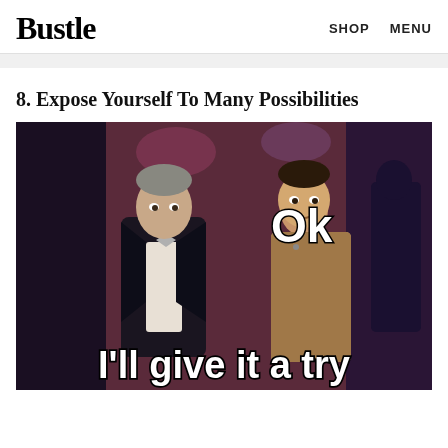Bustle  SHOP  MENU
8. Expose Yourself To Many Possibilities
[Figure (photo): Meme image of two men (one in a tuxedo with bow tie, one in a casual sweater) standing together. Text overlay reads 'Ok' at top and 'I'll give it a try' at bottom in bold white text.]